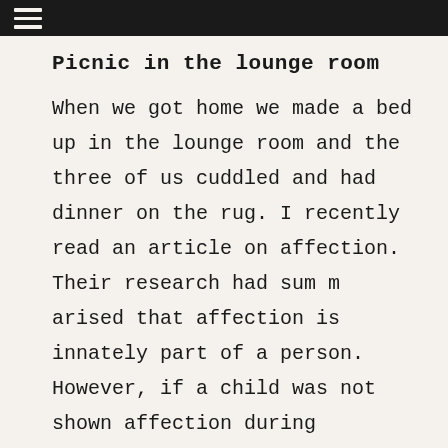☰
Picnic in the lounge room
When we got home we made a bed up in the lounge room and the three of us cuddled and had dinner on the rug. I recently read an article on affection. Their research had summarised that affection is innately part of a person. However, if a child was not shown affection during childhood they are more likely to not be affectionate with others or their own children regardless if they are innately affectionate. If a child isn't affectionate by nature but is showered